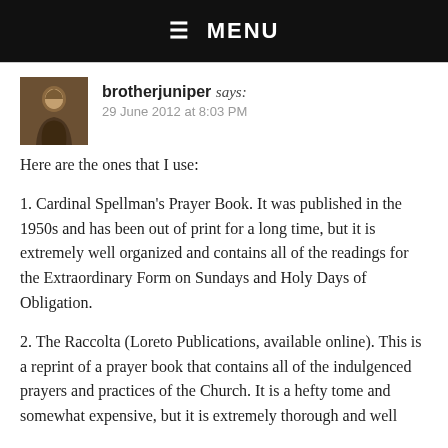☰  MENU
brotherjuniper says:
29 June 2012 at 8:03 PM
Here are the ones that I use:
1. Cardinal Spellman's Prayer Book. It was published in the 1950s and has been out of print for a long time, but it is extremely well organized and contains all of the readings for the Extraordinary Form on Sundays and Holy Days of Obligation.
2. The Raccolta (Loreto Publications, available online). This is a reprint of a prayer book that contains all of the indulgenced prayers and practices of the Church. It is a hefty tome and somewhat expensive, but it is extremely thorough and well